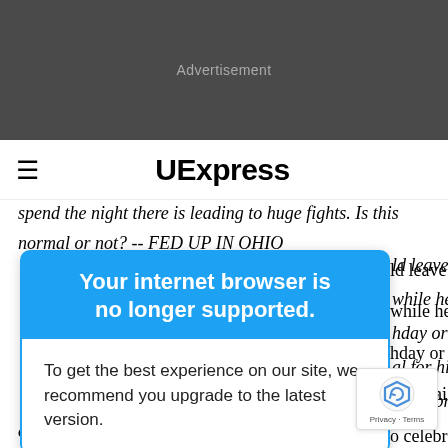[Figure (screenshot): Advertisement banner area — dark grey rectangle with 'Advertisement' text]
≡  UExpress
spend the night there is leading to huge fights. Is this normal or not? -- FED UP IN OHIO
[Figure (screenshot): Browser upgrade modal: header 'Your internet browser is no longer supported.' on blue background; body 'To get the best experience on our site, we recommend you upgrade to the latest version.']
ld leave minor ... while he ... hday or not -- is ... al for hi... o celebra...
occasion